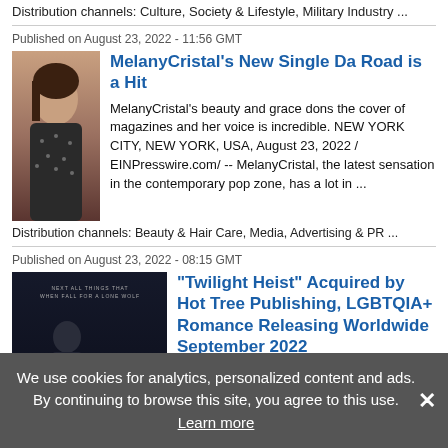Distribution channels: Culture, Society & Lifestyle, Military Industry ...
Published on August 23, 2022 - 11:56 GMT
[Figure (photo): Photo of MelanyCristal, a woman in a sparkly outfit]
MelanyCristal's New Single Da Road is a Hit
MelanyCristal's beauty and grace dons the cover of magazines and her voice is incredible. NEW YORK CITY, NEW YORK, USA, August 23, 2022 / EINPresswire.com/ -- MelanyCristal, the latest sensation in the contemporary pop zone, has a lot in ...
Distribution channels: Beauty & Hair Care, Media, Advertising & PR ...
Published on August 23, 2022 - 08:15 GMT
[Figure (photo): Book cover for Twilight Heist with dark cinematic background and stylized title text]
"Twilight Heist" Acquired by Hot Tree Publishing, LGBTQIA+ Romance Releasing Worldwide September 2022
Hot Tree Publishing Acquires MM Romantic ...
We use cookies for analytics, personalized content and ads. By continuing to browse this site, you agree to this use. Learn more